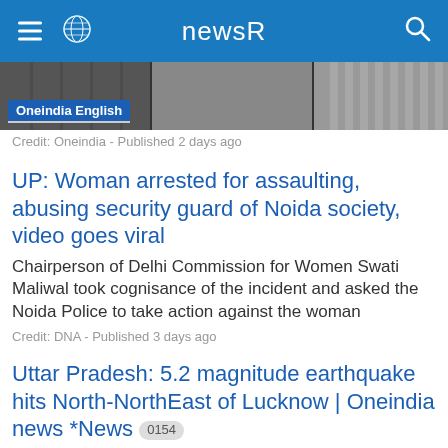newsR
[Figure (screenshot): Video thumbnail showing people near bars/gate with Oneindia English badge overlay]
Credit: Oneindia - Published 2 days ago
UP: Woman arrested for assaulting, abusing security guard of Noida society, video goes viral
Chairperson of Delhi Commission for Women Swati Maliwal took cognisance of the incident and asked the Noida Police to take action against the woman
Credit: DNA - Published 3 days ago
Uttar Pradesh: 5.2 magnitude earthquake hits North-NorthEast of Lucknow | Oneindia news *News 0154